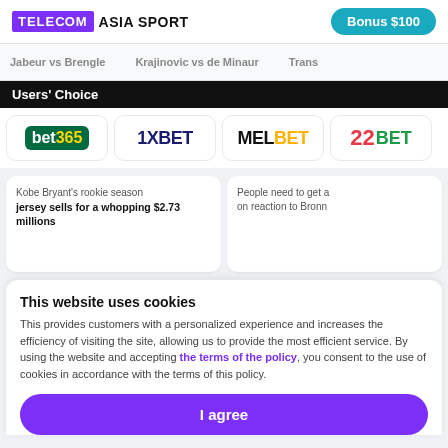TELECOM ASIA SPORT | Bonus $100
Jabeur vs Brengle   Krajinovic vs de Minaur   Trans
Users' Choice
[Figure (logo): Four bookmaker logos: bet365, 1XBET, MELBET, 22BET]
Kobe Bryant's rookie season jersey sells for a whopping $2.73 millions
People need to get a on reaction to Bronn
This website uses cookies
This provides customers with a personalized experience and increases the efficiency of visiting the site, allowing us to provide the most efficient service. By using the website and accepting the terms of the policy, you consent to the use of cookies in accordance with the terms of this policy.
I agree